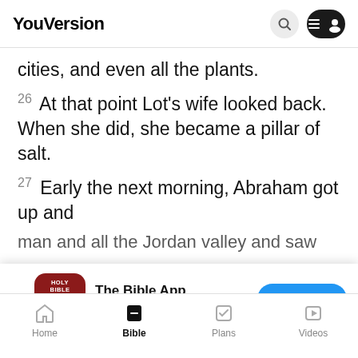YouVersion
cities, and even all the plants.
26 At that point Lot's wife looked back. When she did, she became a pillar of salt.
27 Early the next morning, Abraham got up and
[Figure (screenshot): App download banner for The Bible App with Holy Bible icon, 5 stars, 7.9M rating, and Download button]
man and all the Jordan valley and saw
smoke
furnace
YouVersion uses cookies to personalize your experience. By using our website, you accept our use of cookies as described in our Privacy Policy.
Home  Bible  Plans  Videos